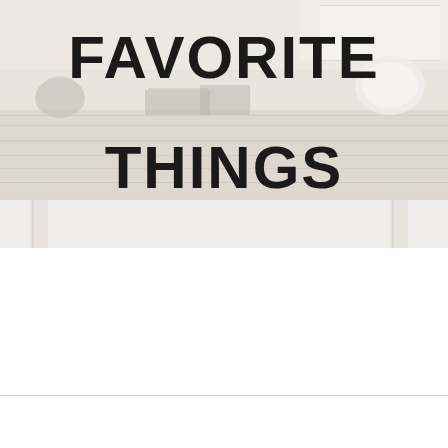[Figure (photo): Photo of a whitewashed rustic wood table/bench with decorative items, overlaid with large bold black text reading 'FAVORITE THINGS']
WANT TO KNOW HOW TO DECORATE YOUR HOME FOR FREE?